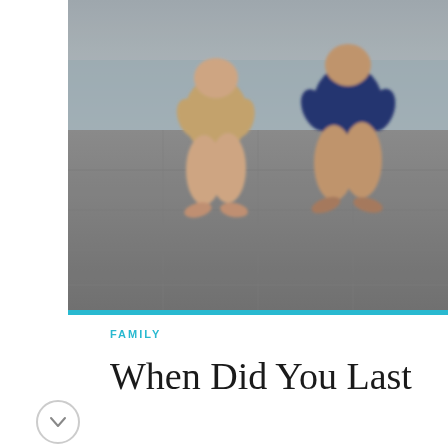[Figure (photo): Two chubby-legged people in onesies/bodysuits (one tan/beige, one navy blue) walking barefoot across a stone-paved outdoor area, shot from behind/side. The image is blurry/low resolution.]
FAMILY
When Did You Last